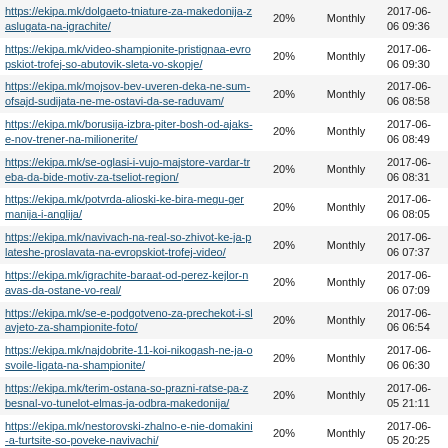| https://ekipa.mk/dolgaeto-tniature-za-makedonija-zaslugata-na-igrachite/ | 20% | Monthly | 2017-06-06 09:36 |
| https://ekipa.mk/video-shampionite-pristignaa-evropskiot-trofej-so-abutovik-sleta-vo-skopje/ | 20% | Monthly | 2017-06-06 09:30 |
| https://ekipa.mk/mojsov-bev-uveren-deka-ne-sum-ofsajd-sudijata-ne-me-ostavi-da-se-raduvam/ | 20% | Monthly | 2017-06-06 08:58 |
| https://ekipa.mk/borusija-izbra-piter-bosh-od-ajaks-e-nov-trener-na-milionerite/ | 20% | Monthly | 2017-06-06 08:49 |
| https://ekipa.mk/se-oglasi-i-vujo-majstore-vardar-treba-da-bide-motiv-za-tseliot-region/ | 20% | Monthly | 2017-06-06 08:31 |
| https://ekipa.mk/potvrda-alioski-ke-bira-megu-germanija-i-anglija/ | 20% | Monthly | 2017-06-06 08:05 |
| https://ekipa.mk/navivach-na-real-so-zhivot-ke-ja-plateshe-proslavata-na-evropskiot-trofej-video/ | 20% | Monthly | 2017-06-06 07:37 |
| https://ekipa.mk/igrachite-baraat-od-perez-kejlor-navas-da-ostane-vo-real/ | 20% | Monthly | 2017-06-06 07:09 |
| https://ekipa.mk/se-e-podgotveno-za-prechekot-i-slavjeto-za-shampionite-foto/ | 20% | Monthly | 2017-06-06 06:54 |
| https://ekipa.mk/najdobrite-11-koi-nikogash-ne-ja-osvoile-ligata-na-shampionite/ | 20% | Monthly | 2017-06-06 06:30 |
| https://ekipa.mk/terim-ostana-so-prazni-ratse-pa-zbesnal-vo-tunelot-elmas-ja-odbra-makedonija/ | 20% | Monthly | 2017-06-05 21:11 |
| https://ekipa.mk/nestorovski-zhalno-e-nie-domakini-a-turtsite-so-poveke-navivachi/ | 20% | Monthly | 2017-06-05 20:25 |
| https://ekipa.mk/angelovski-dominiravme-trebashe-da-pobedime/ | 20% | Monthly | 2017-06-05 19:57 |
| https://ekipa.mk/igra-guzel-chok-golovi-iok-fotogalerija/ | 20% | Monthly | 2017-06-05 19:45 |